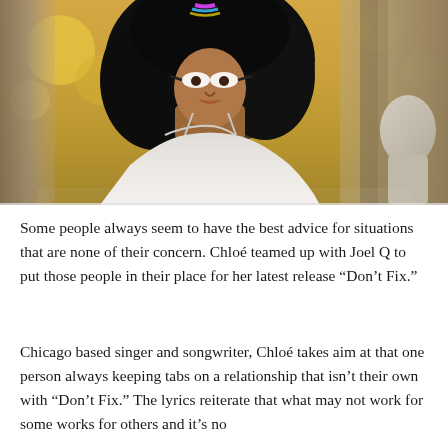[Figure (photo): A Black woman with large curly hair and colorful dramatic eye makeup, wearing a white off-shoulder dress, posed outdoors among trees with yellow foliage in the background. A stone statue is visible on the right side.]
Some people always seem to have the best advice for situations that are none of their concern. Chloé teamed up with Joel Q to put those people in their place for her latest release “Don’t Fix.”
Chicago based singer and songwriter, Chloé takes aim at that one person always keeping tabs on a relationship that isn’t their own with “Don’t Fix.” The lyrics reiterate that what may not work for some works for others and it’s no